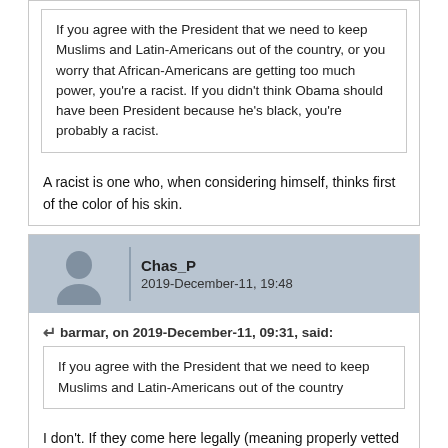If you agree with the President that we need to keep Muslims and Latin-Americans out of the country, or you worry that African-Americans are getting too much power, you're a racist. If you didn't think Obama should have been President because he's black, you're probably a racist.
A racist is one who, when considering himself, thinks first of the color of his skin.
Chas_P
2019-December-11, 19:48
barmar, on 2019-December-11, 09:31, said:
If you agree with the President that we need to keep Muslims and Latin-Americans out of the country
I don't. If they come here legally (meaning properly vetted and abiding by our current immigration laws) I'm all for them; their religion or country of origin is not significant.